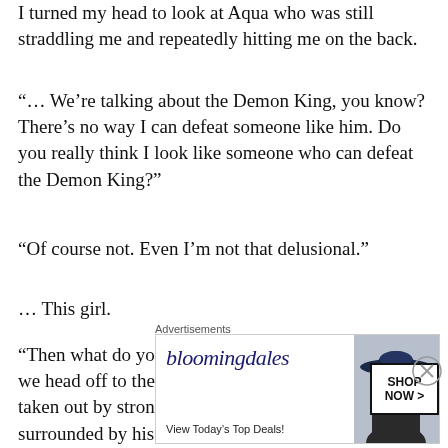I turned my head to look at Aqua who was still straddling me and repeatedly hitting me on the back.
“… We’re talking about the Demon King, you know? There’s no way I can defeat someone like him. Do you really think I look like someone who can defeat the Demon King?”
“Of course not. Even I’m not that delusional.”
… This girl.
“Then what do you want? Even if I raise my level and we head off to the Demon King’s castle, if we aren’t taken out by strong monsters on the way, we’d be surrounded by his forces the moment we reach his
Advertisements
[Figure (other): Bloomingdale's advertisement banner with logo, 'View Today's Top Deals!' tagline, woman wearing a large brim hat, and 'SHOP NOW >' button]